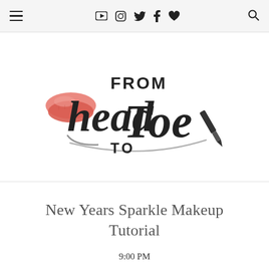Navigation bar with hamburger menu, social icons (YouTube, Instagram, Twitter, Facebook, heart/Bloglovin), and search icon
[Figure (logo): From Head To Toe blog logo with pink lips icon and script lettering with a lipstick/pen graphic]
New Years Sparkle Makeup Tutorial
9:00 PM